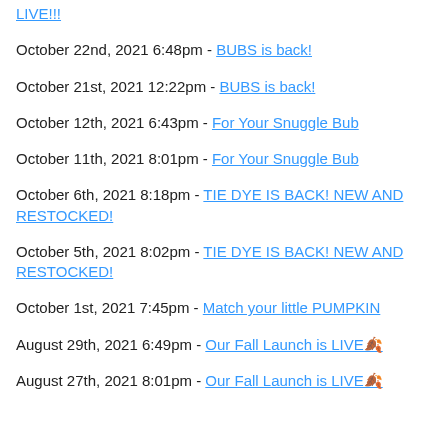LIVE!!!
October 22nd, 2021 6:48pm - BUBS is back!
October 21st, 2021 12:22pm - BUBS is back!
October 12th, 2021 6:43pm - For Your Snuggle Bub
October 11th, 2021 8:01pm - For Your Snuggle Bub
October 6th, 2021 8:18pm - TIE DYE IS BACK! NEW AND RESTOCKED!
October 5th, 2021 8:02pm - TIE DYE IS BACK! NEW AND RESTOCKED!
October 1st, 2021 7:45pm - Match your little PUMPKIN
August 29th, 2021 6:49pm - Our Fall Launch is LIVE🍂
August 27th, 2021 8:01pm - Our Fall Launch is LIVE🍂